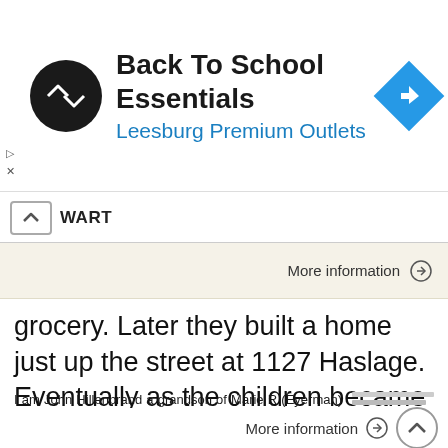[Figure (logo): Ad banner for Back To School Essentials at Leesburg Premium Outlets with circular logo and navigation icon]
Back To School Essentials
Leesburg Premium Outlets
WART
More information →
grocery. Later they built a home just up the street at 1127 Haslage. Eventually as the children became adults they all acquired
I am John Hillenbrand a grandson of Marie R (Eyerman) Hillenbrand. Marie was the sister of George, Emil, and Charlie. I know a little Eyerman family history and I would like to pass it along. The Eyerman
More information →